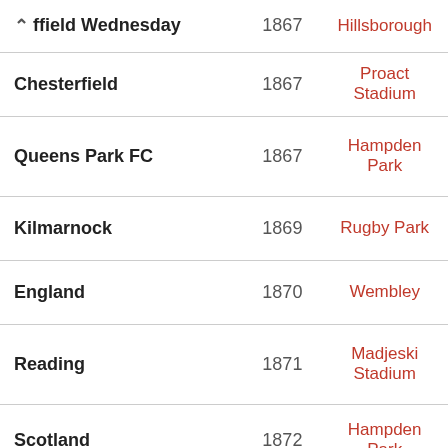| Club / Team | Founded | Stadium |
| --- | --- | --- |
| Sheffield Wednesday | 1867 | Hillsborough |
| Chesterfield | 1867 | Proact Stadium |
| Queens Park FC | 1867 | Hampden Park |
| Kilmarnock | 1869 | Rugby Park |
| England | 1870 | Wembley |
| Reading | 1871 | Madjeski Stadium |
| Scotland | 1872 | Hampden Park |